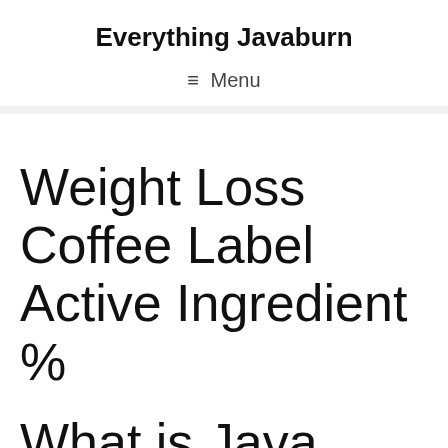Everything Javaburn
≡ Menu
Weight Loss Coffee Label Active Ingredient %
What is Java Burn?